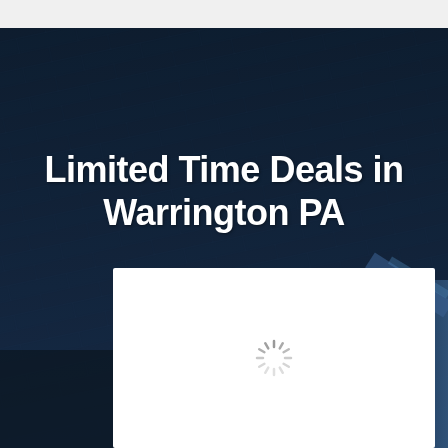[Figure (photo): Dark navy blue roof shingles photographed from below looking up, covering the entire background of the page]
Limited Time Deals in Warrington PA
[Figure (other): White card/panel with a loading spinner (circular dashed loader icon) centered within it]